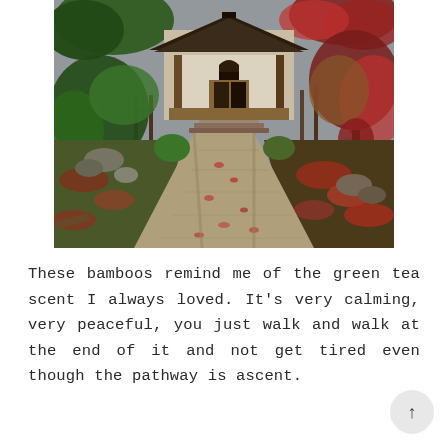[Figure (photo): A Japanese garden with a gravel pathway leading up steps to a traditional wooden temple building with white walls. The garden features autumn foliage with red maple leaves, green shrubs, rocks, and trees on either side of the path.]
These bamboos remind me of the green tea scent I always loved. It's very calming, very peaceful, you just walk and walk at the end of it and not get tired even though the pathway is ascent.